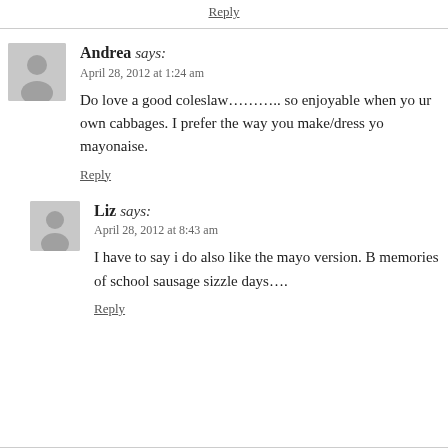Reply
Andrea says:
April 28, 2012 at 1:24 am

Do love a good coleslaw……….. so enjoyable when you grow your own cabbages. I prefer the way you make/dress yours without mayonaise.

Reply
Liz says:
April 28, 2012 at 8:43 am

I have to say i do also like the mayo version. Brings back memories of school sausage sizzle days….

Reply